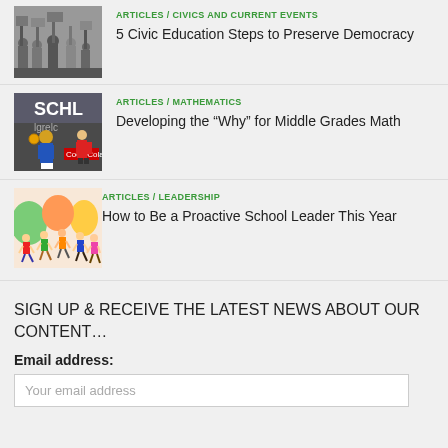[Figure (photo): Grayscale image of people holding signs at a civic event]
ARTICLES / CIVICS AND CURRENT EVENTS
5 Civic Education Steps to Preserve Democracy
[Figure (photo): Color photo of a handball player mid-action in a sports arena with Coca-Cola branding visible]
ARTICLES / MATHEMATICS
Developing the “Why” for Middle Grades Math
[Figure (illustration): Colorful illustration of children running a race]
ARTICLES / LEADERSHIP
How to Be a Proactive School Leader This Year
SIGN UP & RECEIVE THE LATEST NEWS ABOUT OUR CONTENT…
Email address:
Your email address